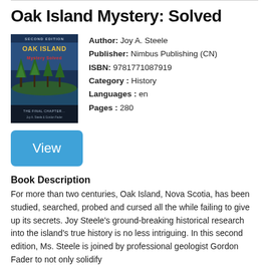Oak Island Mystery: Solved
[Figure (illustration): Book cover of 'Oak Island Mystery Solved' second edition, showing a coastal island scene with trees and water, with text overlay]
Author: Joy A. Steele
Publisher: Nimbus Publishing (CN)
ISBN: 9781771087919
Category : History
Languages : en
Pages : 280
View
Book Description
For more than two centuries, Oak Island, Nova Scotia, has been studied, searched, probed and cursed all the while failing to give up its secrets. Joy Steele's ground-breaking historical research into the island's true history is no less intriguing. In this second edition, Ms. Steele is joined by professional geologist Gordon Fader to not only solidify